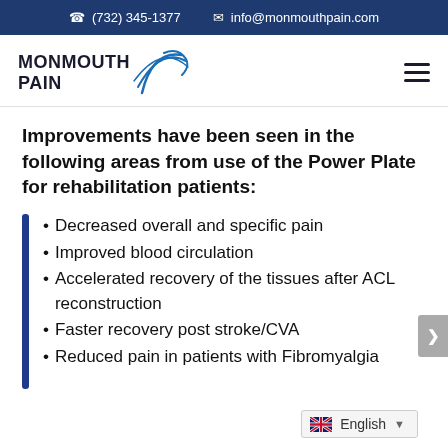(732) 345-1377   info@monmouthpain.com
[Figure (logo): Monmouth Pain logo with wave graphic and bold text]
Improvements have been seen in the following areas from use of the Power Plate for rehabilitation patients:
Decreased overall and specific pain
Improved blood circulation
Accelerated recovery of the tissues after ACL reconstruction
Faster recovery post stroke/CVA
Reduced pain in patients with Fibromyalgia